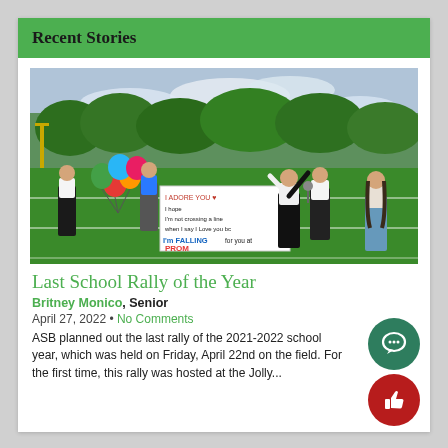Recent Stories
[Figure (photo): Students on a football field at a school rally. A student in a black jacket has both arms raised. Others hold a colorful sign reading 'I ADORE YOU I hope I'm not crossing a line when I say I Love You bc I'm FALLING for you at PROM'. Colorful balloons visible on the left.]
Last School Rally of the Year
Britney Monico, Senior
April 27, 2022 • No Comments
ASB planned out the last rally of the 2021-2022 school year, which was held on Friday, April 22nd on the field. For the first time, this rally was hosted at the Jolly...